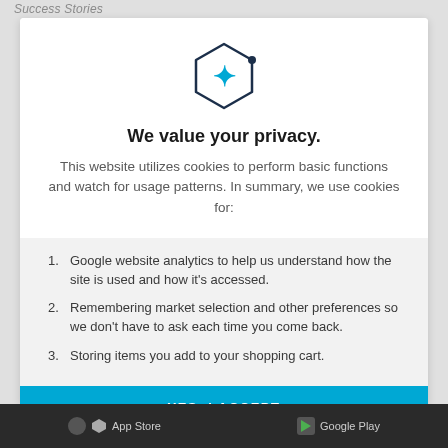Success Stories
[Figure (logo): Hexagonal icon with a blue plus/cross symbol inside and a small dot on the top-right edge of the hexagon outline]
We value your privacy.
This website utilizes cookies to perform basic functions and watch for usage patterns. In summary, we use cookies for:
Google website analytics to help us understand how the site is used and how it's accessed.
Remembering market selection and other preferences so we don't have to ask each time you come back.
Storing items you add to your shopping cart.
YES, I ACCEPT
App Store   Google Play